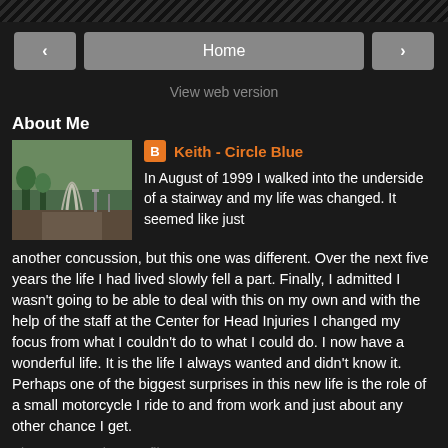Navigation bar with Home button
View web version
About Me
[Figure (photo): Profile photo showing outdoor scene with arch structure and trees]
Keith - Circle Blue
In August of 1999 I walked into the underside of a stairway and my life was changed. It seemed like just another concussion, but this one was different. Over the next five years the life I had lived slowly fell a part. Finally, I admitted I wasn't going to be able to deal with this on my own and with the help of the staff at the Center for Head Injuries I changed my focus from what I couldn't do to what I could do. I now have a wonderful life. It is the life I always wanted and didn't know it. Perhaps one of the biggest surprises in this new life is the role of a small motorcycle I ride to and from work and just about any other chance I get.
View my complete profile
Powered by Blogger.